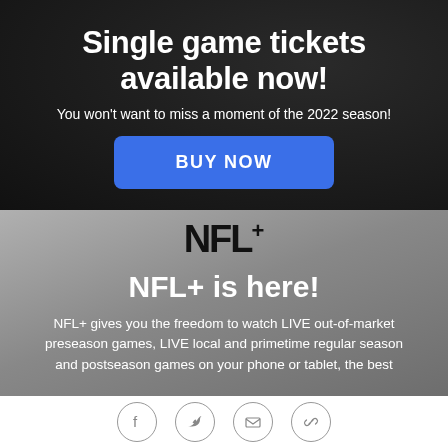Single game tickets available now!
You won't want to miss a moment of the 2022 season!
BUY NOW
[Figure (logo): NFL+ logo in bold black text with a plus superscript]
NFL+ is here!
NFL+ gives you the freedom to watch LIVE out-of-market preseason games, LIVE local and primetime regular season and postseason games on your phone or tablet, the best
[Figure (infographic): Row of four social/share icon circles: Facebook, Twitter, Email, Link]